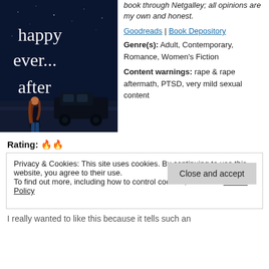[Figure (illustration): Book cover showing 'happy ever... after' text in white serif font on a dark blue/night sky background, with a woman with long red hair standing facing away from viewer and a black cab in the background.]
book through Netgalley; all opinions are my own and honest.
Goodreads | Book Depository
Genre(s): Adult, Contemporary, Romance, Women's Fiction
Content warnings: rape & rape aftermath, PTSD, very mild sexual content
Rating: 🔥🔥
Privacy & Cookies: This site uses cookies. By continuing to use this website, you agree to their use.
To find out more, including how to control cookies, see here: Cookie Policy
Close and accept
I really wanted to like this because it tells such an